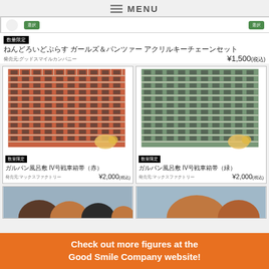≡ MENU
[Figure (screenshot): Top product image bar with green buttons]
数量限定
ねんどろいどぷらす ガールズ＆パンツァー アクリルキーチェーンセット
発売元:グッドスマイルカンパニー
¥1,500(税込)
[Figure (photo): ガルパン風呂敷 IV号戦車箱帯（赤）- red brick pattern product image]
数量限定
ガルパン風呂敷 IV号戦車箱帯（赤）
発売元:マックスファクトリー
¥2,000(税込)
[Figure (photo): ガルパン風呂敷 IV号戦車箱帯（緑）- green pattern product image]
数量限定
ガルパン風呂敷 IV号戦車箱帯（緑）
発売元:マックスファクトリー
¥2,000(税込)
[Figure (photo): Bottom left product image - partial view of figures]
[Figure (photo): Bottom right product image - partial view of figure]
Check out more figures at the Good Smile Company website!